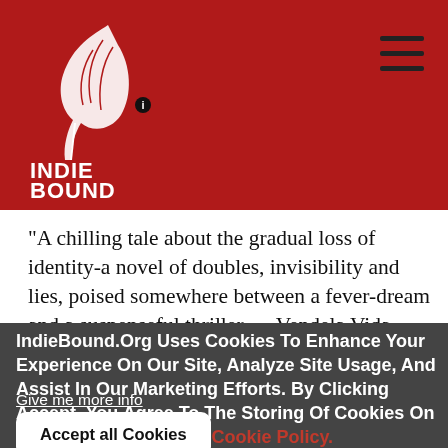IndieBound logo and navigation header
[Figure (logo): IndieBound logo — white stylized feather/torch graphic above text INDIE BOUND on a dark red background]
“A chilling tale about the gradual loss of identity-a novel of doubles, invisibility and lies, poised somewhere between a fever-dream and a suspenseful thriller . . .Vendela Vida perfectly captures what it feels like to be unreal, especially to oneself, and grasping at roles in order to survive.”
IndieBound.Org Uses Cookies To Enhance Your Experience On Our Site, Analyze Site Usage, And Assist In Our Marketing Efforts. By Clicking Accept, You Agree To The Storing Of Cookies On Your Device. View Our Cookie Policy.
Give me more info
Accept all Cookies